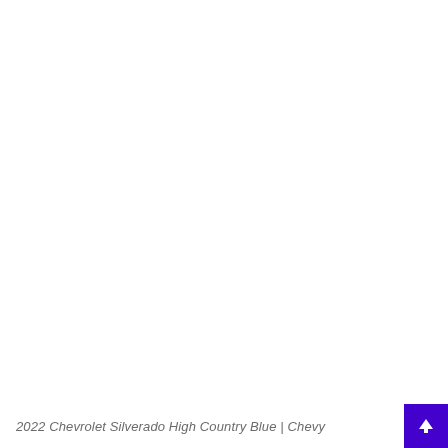[Figure (photo): Mostly blank white page area — presumably a vehicle photo placeholder for 2022 Chevrolet Silverado High Country Blue]
2022 Chevrolet Silverado High Country Blue | Chevy